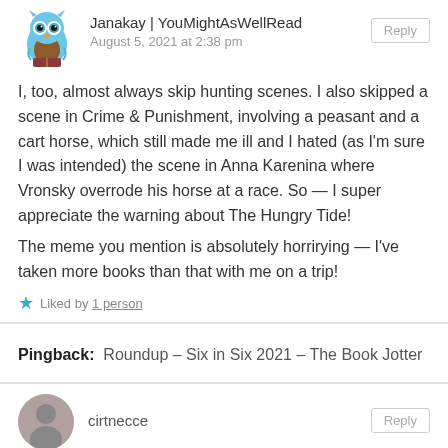[Figure (illustration): Blue owl avatar icon for user Janakay]
Janakay | YouMightAsWellRead
August 5, 2021 at 2:38 pm
Reply
I, too, almost always skip hunting scenes. I also skipped a scene in Crime & Punishment, involving a peasant and a cart horse, which still made me ill and I hated (as I'm sure I was intended) the scene in Anna Karenina where Vronsky overrode his horse at a race. So — I super appreciate the warning about The Hungry Tide!
The meme you mention is absolutely horrirying — I've taken more books than that with me on a trip!
Liked by 1 person
Pingback: Roundup – Six in Six 2021 – The Book Jotter
[Figure (photo): Circular profile photo of user cirtnecce]
cirtnecce
Reply